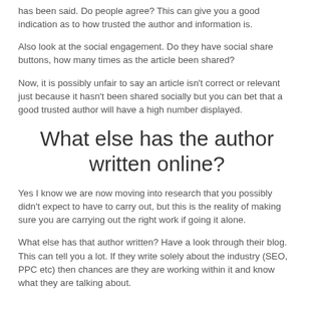has been said. Do people agree? This can give you a good indication as to how trusted the author and information is.
Also look at the social engagement. Do they have social share buttons, how many times as the article been shared?
Now, it is possibly unfair to say an article isn't correct or relevant just because it hasn't been shared socially but you can bet that a good trusted author will have a high number displayed.
What else has the author written online?
Yes I know we are now moving into research that you possibly didn't expect to have to carry out, but this is the reality of making sure you are carrying out the right work if going it alone.
What else has that author written? Have a look through their blog. This can tell you a lot. If they write solely about the industry (SEO, PPC etc) then chances are they are working within it and know what they are talking about.